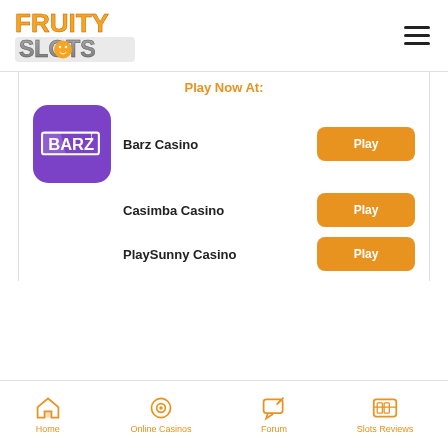Fruity Slots logo and hamburger menu
Play Now At:
Barz Casino – Play
Casimba Casino – Play
PlaySunny Casino – Play
Home | Online Casinos | Forum | Slots Reviews